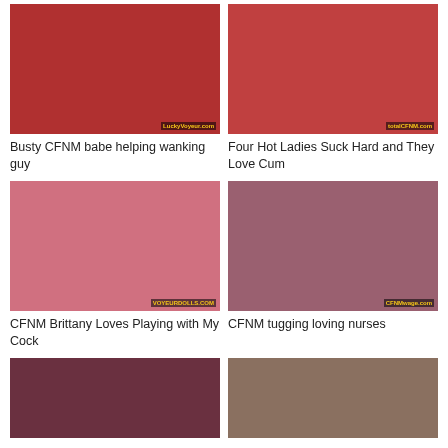[Figure (photo): Thumbnail image for video: Busty CFNM babe helping wanking guy]
[Figure (photo): Thumbnail image for video: Four Hot Ladies Suck Hard and They Love Cum]
Busty CFNM babe helping wanking guy
Four Hot Ladies Suck Hard and They Love Cum
[Figure (photo): Thumbnail image for video: CFNM Brittany Loves Playing with My Cock]
[Figure (photo): Thumbnail image for video: CFNM tugging loving nurses]
CFNM Brittany Loves Playing with My Cock
CFNM tugging loving nurses
[Figure (photo): Thumbnail image for a fifth video (partially visible)]
[Figure (photo): Thumbnail image for a sixth video (partially visible)]